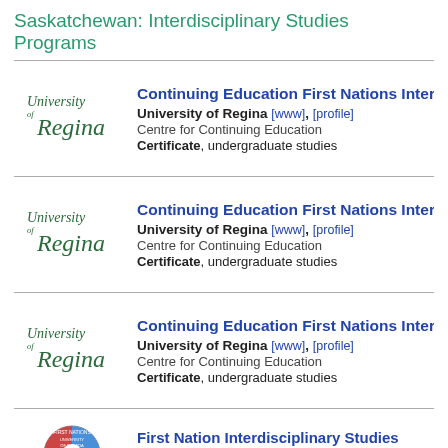Saskatchewan: Interdisciplinary Studies Programs
Continuing Education First Nations Inte...
University of Regina [www], [profile]
Centre for Continuing Education
Certificate, undergraduate studies
Continuing Education First Nations Inte...
University of Regina [www], [profile]
Centre for Continuing Education
Certificate, undergraduate studies
Continuing Education First Nations Inte...
University of Regina [www], [profile]
Centre for Continuing Education
Certificate, undergraduate studies
First Nation Interdisciplinary Studies
First Nations University of Canada [www], [profile]